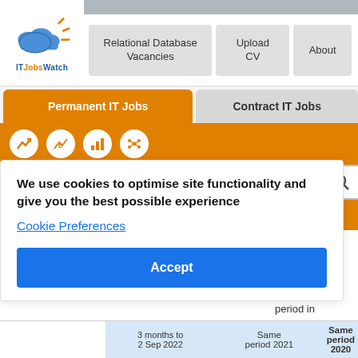[Figure (logo): ITJobsWatch cloud logo with sun and text]
Relational Database Vacancies
Upload CV
About
Permanent IT Jobs
Contract IT Jobs
Search Skills/Roles
Period  6 months  3 months to 2 September 2022
We use cookies to optimise site functionality and give you the best possible experience
Cookie Preferences
Accept
nt job
tional
aries
r the 6
period in
| 3 months to
2 Sep 2022 | Same
period 2021 | Same
period 2020 |
| --- | --- | --- |